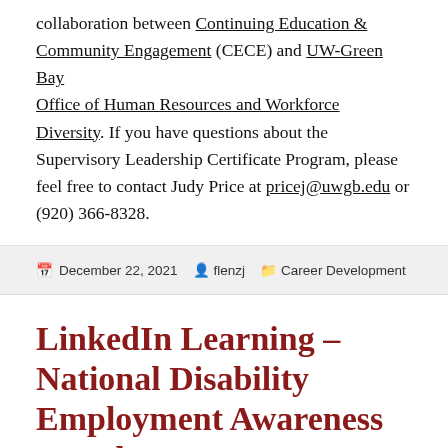collaboration between Continuing Education & Community Engagement (CECE) and UW-Green Bay Office of Human Resources and Workforce Diversity. If you have questions about the Supervisory Leadership Certificate Program, please feel free to contact Judy Price at pricej@uwgb.edu or (920) 366-8328.
December 22, 2021   flenzj   Career Development
LinkedIn Learning – National Disability Employment Awareness Month